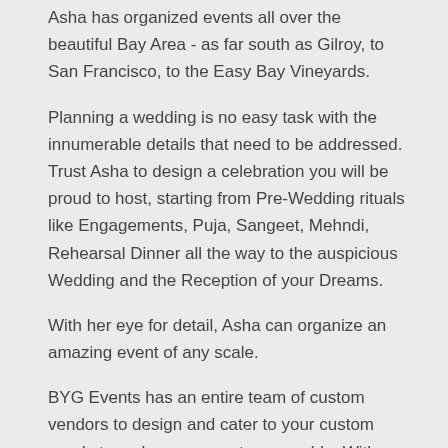Asha has organized events all over the beautiful Bay Area - as far south as Gilroy, to San Francisco, to the Easy Bay Vineyards.
Planning a wedding is no easy task with the innumerable details that need to be addressed. Trust Asha to design a celebration you will be proud to host, starting from Pre-Wedding rituals like Engagements, Puja, Sangeet, Mehndi, Rehearsal Dinner all the way to the auspicious Wedding and the Reception of your Dreams.
With her eye for detail, Asha can organize an amazing event of any scale.
BYG Events has an entire team of custom vendors to design and cater to your custom needs to make your event memorable. With her team of